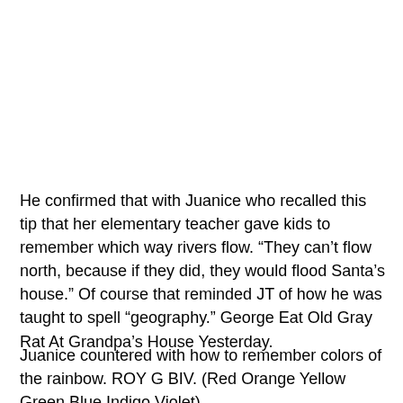He confirmed that with Juanice who recalled this tip that her elementary teacher gave kids to remember which way rivers flow. “They can’t flow north, because if they did, they would flood Santa’s house.” Of course that reminded JT of how he was taught to spell “geography.” George Eat Old Gray Rat At Grandpa’s House Yesterday.
Juanice countered with how to remember colors of the rainbow. ROY G BIV. (Red Orange Yellow Green Blue Indigo Violet)